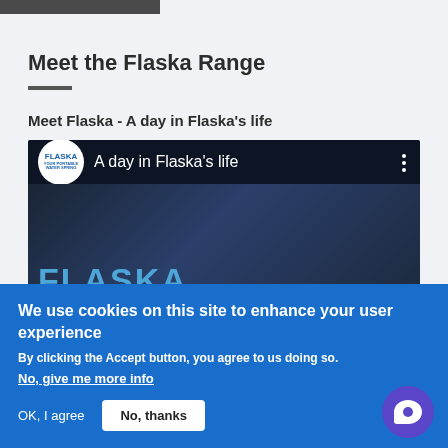[Figure (screenshot): Dark navigation bar element at top of page]
Meet the Flaska Range
Meet Flaska - A day in Flaska's life
[Figure (screenshot): YouTube video embed titled 'A day in Flaska's life' showing Flaska logo, video title overlay, FLASKA brand text, and a YouTube play button on dark blue background]
We use cookies on this site to enhance your user experience
By clicking the Accept button, you agree to us doing so.
No, give me more info
OK, I agree
No, thanks